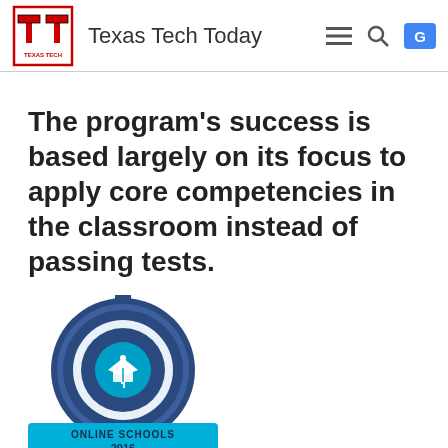Texas Tech Today
The program’s success is based largely on its focus to apply core competencies in the classroom instead of passing tests.
[Figure (logo): Best Choice Schools Online Schools 2016 badge/seal logo]